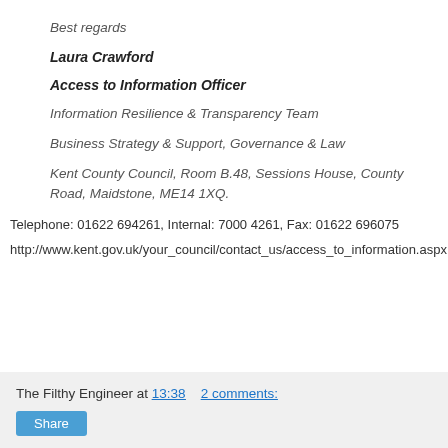Best regards
Laura Crawford
Access to Information Officer
Information Resilience & Transparency Team
Business Strategy & Support, Governance & Law
Kent County Council, Room B.48, Sessions House, County Road, Maidstone, ME14 1XQ.
Telephone: 01622 694261, Internal: 7000 4261, Fax: 01622 696075
http://www.kent.gov.uk/your_council/contact_us/access_to_information.aspx
The Filthy Engineer at 13:38   2 comments: